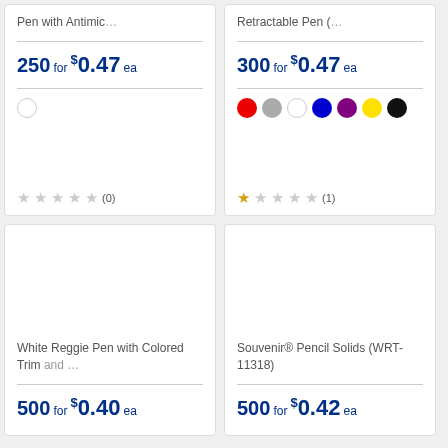Pen with Antimic...
250 for $0.47 ea
(0)
Retractable Pen (...
300 for $0.47 ea
(1)
[Figure (photo): White Reggie Pen with Colored Trim product image area (blank)]
White Reggie Pen with Colored Trim and ...
500 for $0.40 ea
[Figure (photo): Souvenir Pencil Solids product image area (blank)]
Souvenir® Pencil Solids (WRT-11318)
500 for $0.42 ea